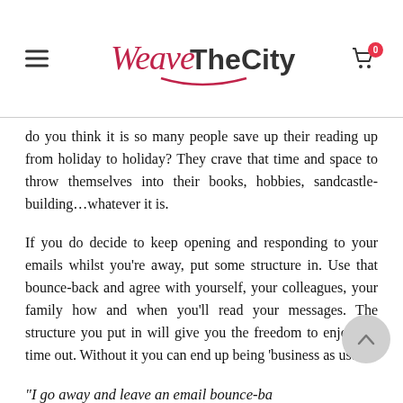WeaveTheCity
do you think it is so many people save up their reading up from holiday to holiday?  They crave that time and space to throw themselves into their books, hobbies, sandcastle-building…whatever it is.
If you do decide to keep opening and responding to your emails whilst you're away, put some structure in.  Use that bounce-back and agree with yourself, your colleagues, your family how and when you'll read your messages.  The structure you put in will give you the freedom to enjoy the time out.  Without it you can end up being 'business as usual'.
“I go away and leave an email bounce-back to people?”